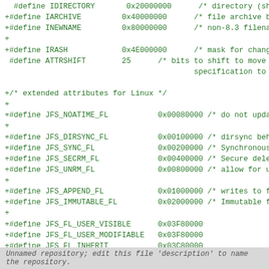Code snippet showing C preprocessor defines for JFS filesystem attributes including IDIRECTORY, IARCHIVE, INEWNAME, IRASH, ATTRSHIFT, extended attributes for Linux, JFS_NOATIME_FL, JFS_DIRSYNC_FL, JFS_SYNC_FL, JFS_SECRM_FL, JFS_UNRM_FL, JFS_APPEND_FL, JFS_IMMUTABLE_FL, JFS_FL_USER_VISIBLE, JFS_FL_USER_MODIFIABLE, JFS_FL_INHERIT, JFS_IOC_GETFLAGS, JFS_IOC_SETFLAGS, and #endif
Unnamed repository; edit this file 'description' to name the repository.